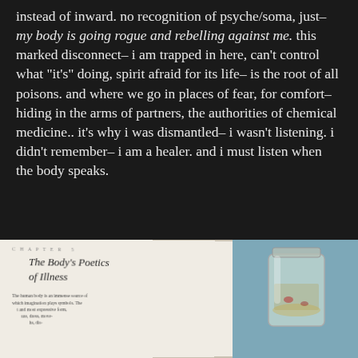instead of inward. no recognition of psyche/soma, just- my body is going rogue and rebelling against me. this marked disconnect- i am trapped in here, can't control what "it's" doing, spirit afraid for its life- is the root of all poisons. and where we go in places of fear, for comfort- hiding in the arms of partners, the authorities of chemical medicine.. it's why i was dismantled- i wasn't listening. i didn't remember- i am a healer. and i must listen when the body speaks.
[Figure (photo): A photograph of an open book page showing a chapter titled 'The Body's Poetics of Illness' with a glass mason jar beside it on a blue/teal background.]